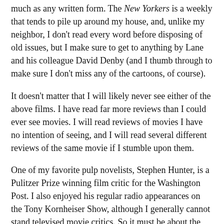much as any written form. The New Yorkers is a weekly that tends to pile up around my house, and, unlike my neighbor, I don't read every word before disposing of old issues, but I make sure to get to anything by Lane and his colleague David Denby (and I thumb through to make sure I don't miss any of the cartoons, of course).
It doesn't matter that I will likely never see either of the above films. I have read far more reviews than I could ever see movies. I will read reviews of movies I have no intention of seeing, and I will read several different reviews of the same movie if I stumble upon them.
One of my favorite pulp novelists, Stephen Hunter, is a Pulitzer Prize winning film critic for the Washington Post. I also enjoyed his regular radio appearances on the Tony Kornheiser Show, although I generally cannot stand televised movie critics. So it must be about the writing.
And before I go any further, I have to mention Joe Bob Briggs, the king of the the drive-in movie reviews. I certainly can't explain him. I can barely defend him. but I have read way too much of his